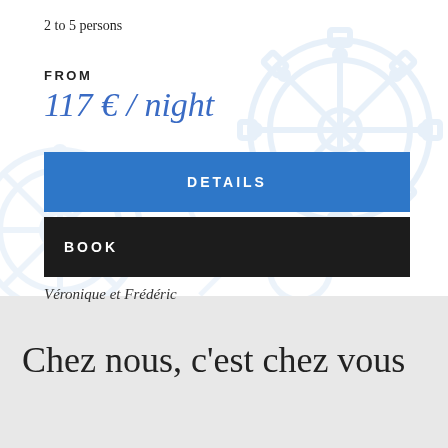2 to 5 persons
FROM
117 € / night
DETAILS
BOOK
Véronique et Frédéric
Chez nous, c'est chez vous